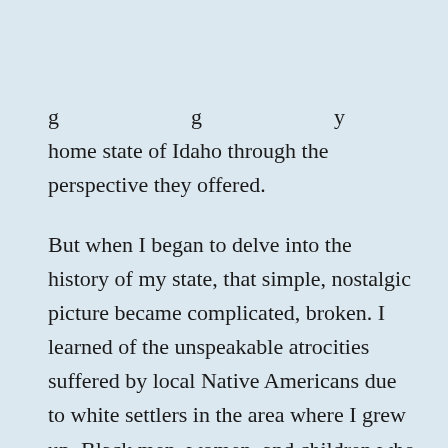…g…y home state of Idaho through the perspective they offered.
But when I began to delve into the history of my state, that simple, nostalgic picture became complicated, broken. I learned of the unspeakable atrocities suffered by local Native Americans due to white settlers in the area where I grew up. Black men, women, and children who came to Idaho in search of economic opportunity faced constant intimidation and discrimination once